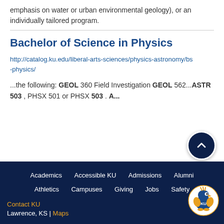emphasis on water or urban environmental geology), or an individually tailored program.
Bachelor of Science in Physics
http://catalog.ku.edu/liberal-arts-sciences/physics-astronomy/bs-physics/
...the following: GEOL 360 Field Investigation GEOL 562...ASTR 503 , PHSX 501 or PHSX 503 . A...
Academics  Accessible KU  Admissions  Alumni  Athletics  Campuses  Giving  Jobs  Safety  Contact KU  Lawrence, KS | Maps